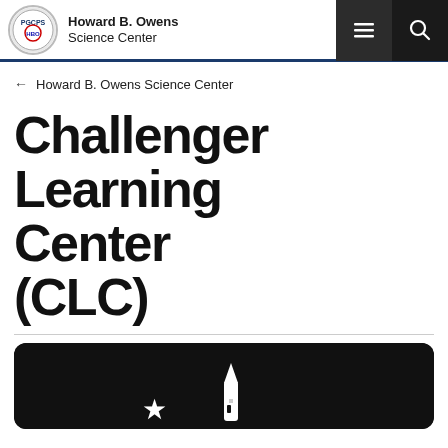Howard B. Owens Science Center
← Howard B. Owens Science Center
Challenger Learning Center (CLC)
[Figure (photo): Dark background image with white star and rocket/lighthouse silhouette icons at the bottom, partially visible]